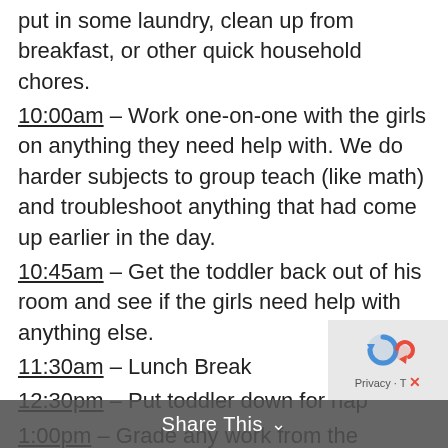put in some laundry, clean up from breakfast, or other quick household chores.
10:00am – Work one-on-one with the girls on anything they need help with. We do harder subjects to group teach (like math) and troubleshoot anything that had come up earlier in the day.
10:45am – Get the toddler back out of his room and see if the girls need help with anything else.
11:30am – Lunch Break
12:30pm – Put toddler down for nap
1:00pm – Grade any work from the morning; see what I can help the girls finish up.
1:30pm – Usually we are finished by this time or close to it. Sometimes we finish up before lunch, depending on the workload that day. We usually do some bedtime reading of a read
Share This